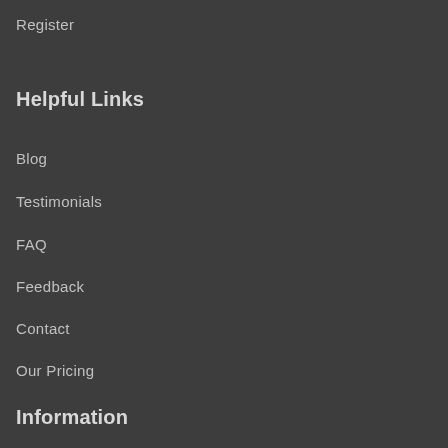Register
Helpful Links
Blog
Testimonials
FAQ
Feedback
Contact
Our Pricing
Information
Privacy Policy
Terms and Conditions